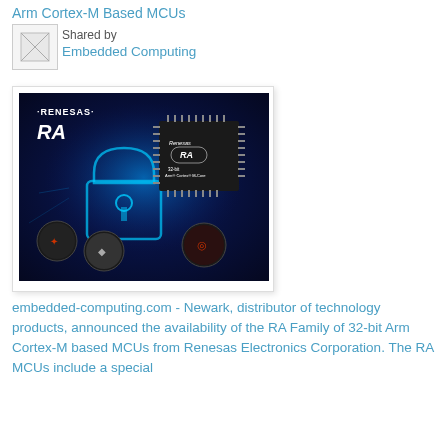Arm Cortex-M Based MCUs
[Figure (logo): Small icon/thumbnail image placeholder]
Shared by
Embedded Computing
[Figure (photo): Renesas RA family MCU promotional image showing a 32-bit Arm Cortex-M core chip over a glowing blue padlock with circular IoT application icons]
embedded-computing.com - Newark, distributor of technology products, announced the availability of the RA Family of 32-bit Arm Cortex-M based MCUs from Renesas Electronics Corporation. The RA MCUs include a special